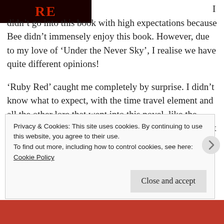[Figure (illustration): Top-left corner of a book cover showing red text partially visible, against a dark background. The visible letters appear to be 'RE' from 'Ruby Red'.]
I didn't go into this book with high expectations because Bee didn't immensely enjoy this book. However, due to my love of 'Under the Never Sky', I realise we have quite different opinions!
'Ruby Red' caught me completely by surprise. I didn't know what to expect, with the time travel element and all the other lore that went into this novel, like the gemstones, the birds and the musical notes. I thought it would be all too bitty. However, I was completely wrong. I fell in love!
Privacy & Cookies: This site uses cookies. By continuing to use this website, you agree to their use.
To find out more, including how to control cookies, see here:
Cookie Policy
Close and accept